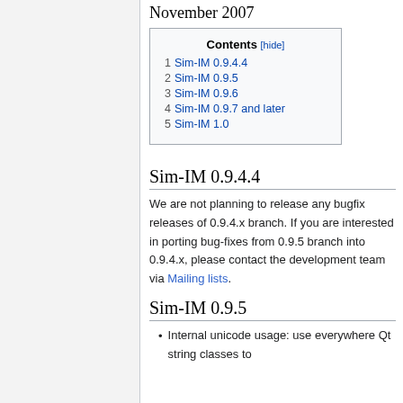November 2007
| Contents [hide] |
| --- |
| 1 Sim-IM 0.9.4.4 |
| 2 Sim-IM 0.9.5 |
| 3 Sim-IM 0.9.6 |
| 4 Sim-IM 0.9.7 and later |
| 5 Sim-IM 1.0 |
Sim-IM 0.9.4.4
We are not planning to release any bugfix releases of 0.9.4.x branch. If you are interested in porting bug-fixes from 0.9.5 branch into 0.9.4.x, please contact the development team via Mailing lists.
Sim-IM 0.9.5
Internal unicode usage: use everywhere Qt string classes to